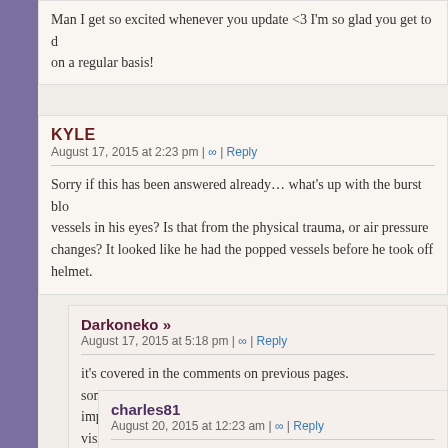Man I get so excited whenever you update <3 I'm so glad you get to do this on a regular basis!
KYLE
August 17, 2015 at 2:23 pm | ∞ | Reply
Sorry if this has been answered already… what's up with the burst blood vessels in his eyes? Is that from the physical trauma, or air pressure changes? It looked like he had the popped vessels before he took off his helmet.
Darkoneko »
August 17, 2015 at 5:18 pm | ∞ | Reply
it's covered in the comments on previous pages. something someting small vessel burst due to shock, doesn't impact vision per see.
charles81
August 20, 2015 at 12:23 am | ∞ | Reply
I'm thinking the coughing might be more than just the air…